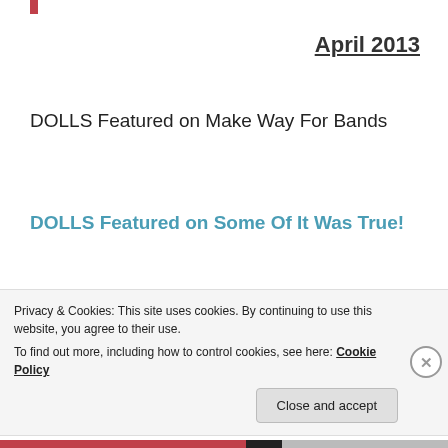April 2013
DOLLS Featured on Make Way For Bands
DOLLS Featured on Some Of It Was True!
“I really admire Dolls. After
Privacy & Cookies: This site uses cookies. By continuing to use this website, you agree to their use.
To find out more, including how to control cookies, see here: Cookie Policy
Close and accept